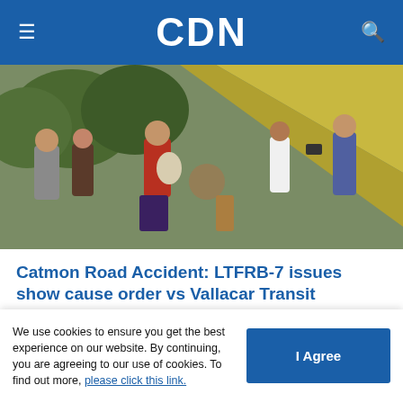CDN
[Figure (photo): People standing around an overturned or accident-damaged vehicle, a large yellow/green object visible, trees in background.]
Catmon Road Accident: LTFRB-7 issues show cause order vs Vallacar Transit
Alven Marie A. Timtim   12/09/2019
[Figure (photo): Partial view of accident scene with red vehicle and tire visible.]
We use cookies to ensure you get the best experience on our website. By continuing, you are agreeing to our use of cookies. To find out more, please click this link.